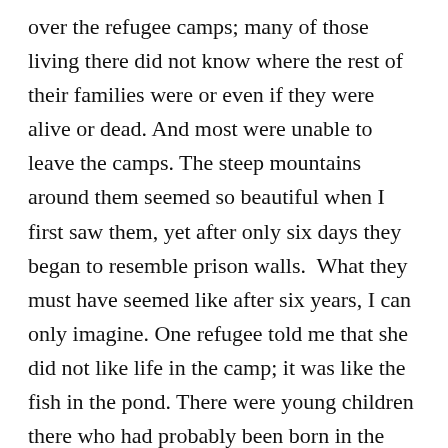over the refugee camps; many of those living there did not know where the rest of their families were or even if they were alive or dead. And most were unable to leave the camps. The steep mountains around them seemed so beautiful when I first saw them, yet after only six days they began to resemble prison walls.  What they must have seemed like after six years, I can only imagine. One refugee told me that she did not like life in the camp; it was like the fish in the pond. There were young children there who had probably been born in the camps and been nowhere else in their short lives.
It is one of the great myths that we have more than our fair share of asylum seekers in this country.  Given that United Nations High Commission on Refugees official statistics in 2010 showed that we had about 2.6% of the world's refugees, that we are the sixth richest nation in